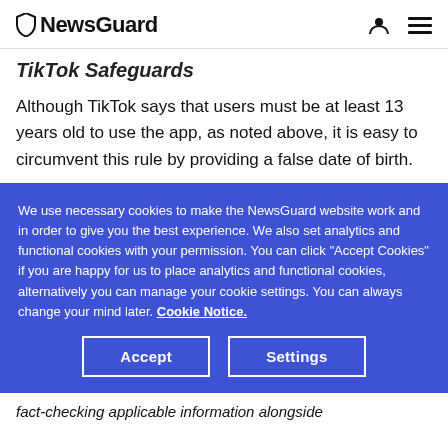NewsGuard
TikTok Safeguards
Although TikTok says that users must be at least 13 years old to use the app, as noted above, it is easy to circumvent this rule by providing a false date of birth.
We use necessary cookies to make the NewsGuard website work and in order to give you the best experience. We also set analytics and functional cookies with your permission. You can click "Accept Cookies" if you are happy for us to place analytics and functional cookies, alternatively you can manage your cookie settings. You can always change your mind later. Cookie Notice.
fact-checking applicable information alongside